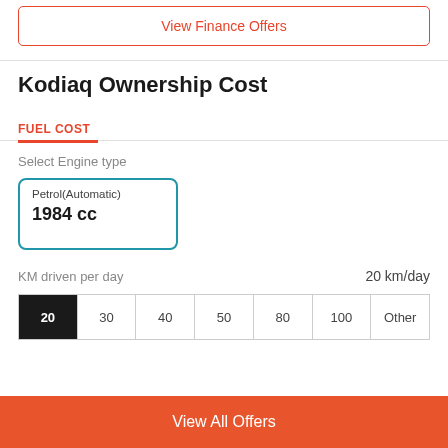View Finance Offers
Kodiaq Ownership Cost
FUEL COST
Select Engine type
Petrol(Automatic)
1984 cc
KM driven per day	20 km/day
| 20 | 30 | 40 | 50 | 80 | 100 | Other |
| --- | --- | --- | --- | --- | --- | --- |
View All Offers